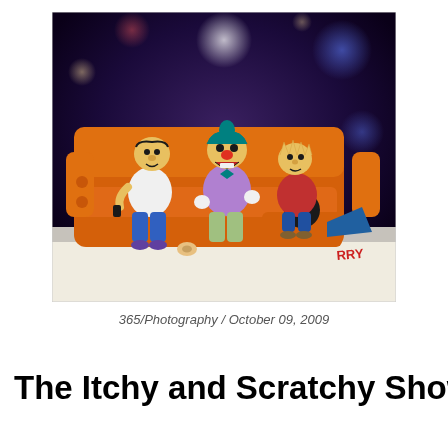[Figure (photo): A photograph of figurines (resembling Simpsons characters including Krusty the Clown and others) seated on an orange couch, styled as a miniature diorama or cake decoration, with a dark bokeh background.]
365/Photography / October 09, 2009
The Itchy and Scratchy Show